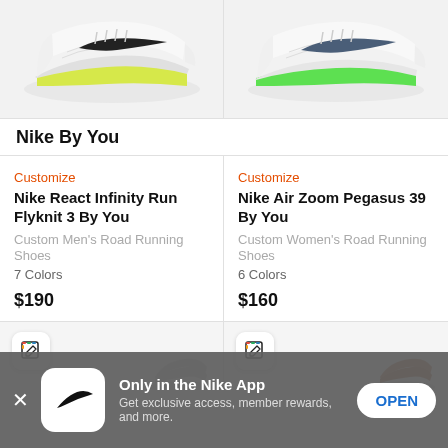[Figure (photo): Two Nike running shoes on light gray background — left: white Nike React Infinity Run Flyknit 3 with yellow-green midsole; right: white Nike Air Zoom Pegasus 39 with green midsole and slate swoosh]
Nike By You
Customize
Nike React Infinity Run Flyknit 3 By You
Custom Men's Road Running Shoes
7 Colors
$190
Customize
Nike Air Zoom Pegasus 39 By You
Custom Women's Road Running Shoes
6 Colors
$160
[Figure (screenshot): Two Nike By You customizer tiles with edit icons and partial shoe thumbnails]
Only in the Nike App
Get exclusive access, member rewards, and more.